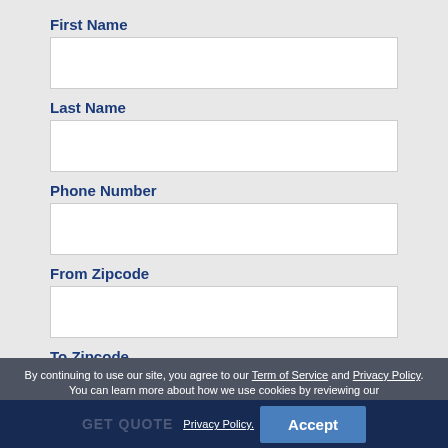First Name
Last Name
Phone Number
From Zipcode
To Zipcode
By continuing to use our site, you agree to our Term of Service and Privacy Policy. You can learn more about how we use cookies by reviewing our Privacy Policy.
GET QUOTE
Accept